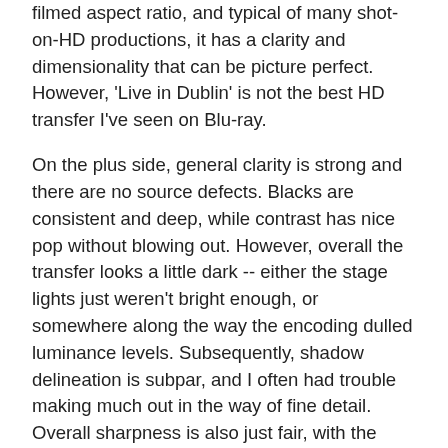filmed aspect ratio, and typical of many shot-on-HD productions, it has a clarity and dimensionality that can be picture perfect. However, 'Live in Dublin' is not the best HD transfer I've seen on Blu-ray.
On the plus side, general clarity is strong and there are no source defects. Blacks are consistent and deep, while contrast has nice pop without blowing out. However, overall the transfer looks a little dark -- either the stage lights just weren't bright enough, or somewhere along the way the encoding dulled luminance levels. Subsequently, shadow delineation is subpar, and I often had trouble making much out in the way of fine detail. Overall sharpness is also just fair, with the transfer looking afirly soft throughout. Colors can look a bit noisy, too -- reds in particular are usually not very clean, and fleshtones are weak